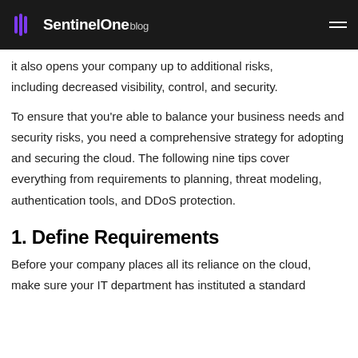SentinelOne blog
atures. While the cloud offers a multitude of benefits, it also opens your company up to additional risks, including decreased visibility, control, and security.
To ensure that you're able to balance your business needs and security risks, you need a comprehensive strategy for adopting and securing the cloud. The following nine tips cover everything from requirements to planning, threat modeling, authentication tools, and DDoS protection.
1. Define Requirements
Before your company places all its reliance on the cloud, make sure your IT department has instituted a standard